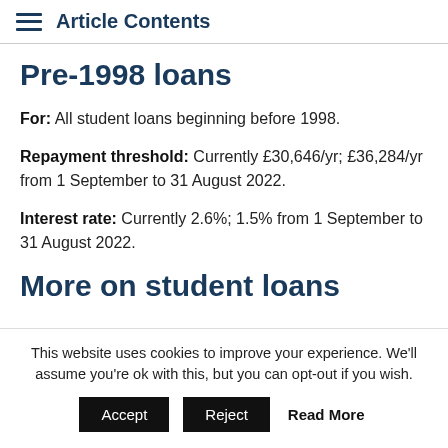Article Contents
Pre-1998 loans
For: All student loans beginning before 1998.
Repayment threshold: Currently £30,646/yr; £36,284/yr from 1 September to 31 August 2022.
Interest rate: Currently 2.6%; 1.5% from 1 September to 31 August 2022.
More on student loans
This website uses cookies to improve your experience. We'll assume you're ok with this, but you can opt-out if you wish.